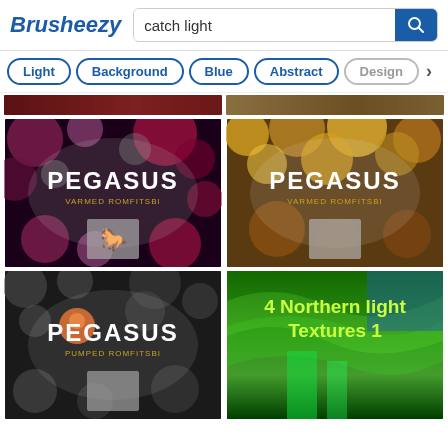Brusheezy — catch light search results
Light
Background
Blue
Abstract
Design
[Figure (screenshot): Pegasus brush pack thumbnail - dark purple/maroon with bokeh circles]
[Figure (screenshot): Pegasus brush pack thumbnail - golden/brown crumpled texture]
[Figure (screenshot): Pegasus brush pack thumbnail - dark grey with bokeh and orange ball]
[Figure (screenshot): 4 Northern light Textures 1 - green aurora borealis]